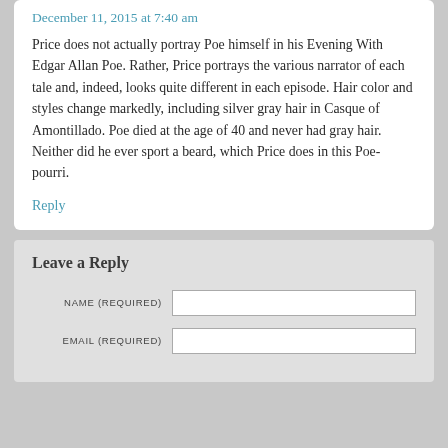December 11, 2015 at 7:40 am
Price does not actually portray Poe himself in his Evening With Edgar Allan Poe. Rather, Price portrays the various narrator of each tale and, indeed, looks quite different in each episode. Hair color and styles change markedly, including silver gray hair in Casque of Amontillado. Poe died at the age of 40 and never had gray hair. Neither did he ever sport a beard, which Price does in this Poe-pourri.
Reply
Leave a Reply
NAME (REQUIRED)
EMAIL (REQUIRED)